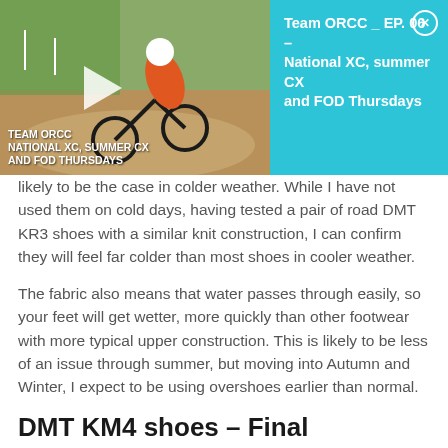[Figure (screenshot): Video player banner overlay showing a mountain bike rider on a dirt track. Left side: video thumbnail with play button and text 'TEAM ORCC NATIONAL XC, SUMMER CX AND FOD THURSDAYS'. Right side: cyan/teal info panel with title 'Team ORCC _ EP. 06 – National XC, summer CX and FOD Thursdays' and a close (X) button.]
likely to be the case in colder weather. While I have not used them on cold days, having tested a pair of road DMT KR3 shoes with a similar knit construction, I can confirm they will feel far colder than most shoes in cooler weather.
The fabric also means that water passes through easily, so your feet will get wetter, more quickly than other footwear with more typical upper construction. This is likely to be less of an issue through summer, but moving into Autumn and Winter, I expect to be using overshoes earlier than normal.
DMT KM4 shoes – Final Thoughts